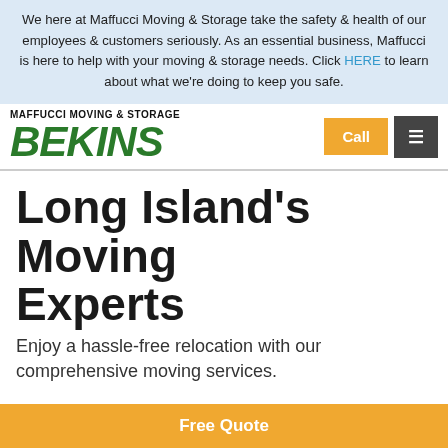We here at Maffucci Moving & Storage take the safety & health of our employees & customers seriously. As an essential business, Maffucci is here to help with your moving & storage needs. Click HERE to learn about what we're doing to keep you safe.
[Figure (logo): Maffucci Moving & Storage Bekins logo with green bold italic BEKINS text]
Long Island's Moving Experts
Enjoy a hassle-free relocation with our comprehensive moving services.
[Figure (photo): Partial photo of movers outside a building]
Free Quote